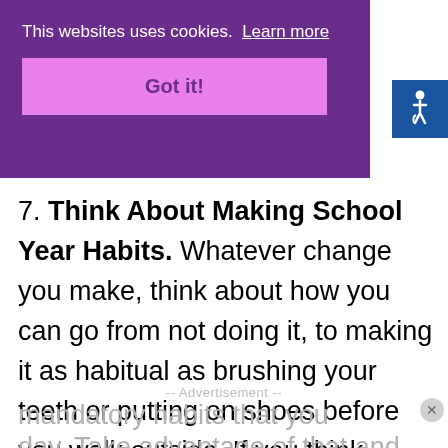This websites uses cookies. Learn more
Got it!
7. Think About Making School Year Habits. Whatever change you make, think about how you can go from not doing it, to making it as habitual as brushing your teeth or putting on shoes before you walk outside. If you think about it, you already have a lot of mandatory habits that you wouldn't skip each day. Take advantage of that and add healthy
-- Advertisement --